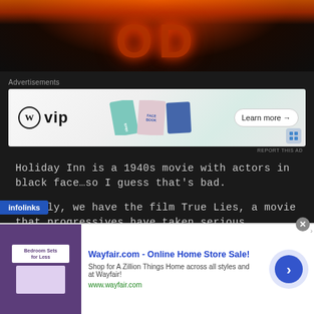[Figure (photo): Burning Hollywood sign at night with fire and smoke, dark background]
Advertisements
[Figure (screenshot): WordPress VIP advertisement banner with cards showing Slack, Facebook logos and Learn more button]
REPORT THIS AD
Holiday Inn is a 1940s movie with actors in black face…so I guess that's bad.
Finally, we have the film True Lies, a movie that progressives have taken serious retroactive offense to because the villains dical Islamic terrorists. If there is one thing that 9/11
[Figure (screenshot): Wayfair.com online home store sale advertisement with bedroom furniture image and arrow button]